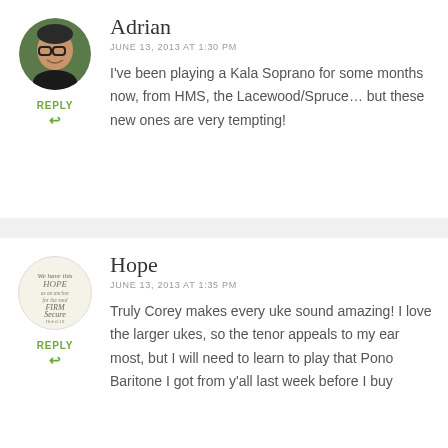Adrian
JUNE 13, 2013 AT 1:30 PM
I've been playing a Kala Soprano for some months now, from HMS, the Lacewood/Spruce... but these new ones are very tempting!
Hope
JUNE 13, 2013 AT 1:35 PM
Truly Corey makes every uke sound amazing! I love the larger ukes, so the tenor appeals to my ear most, but I will need to learn to play that Pono Baritone I got from y'all last week before I buy